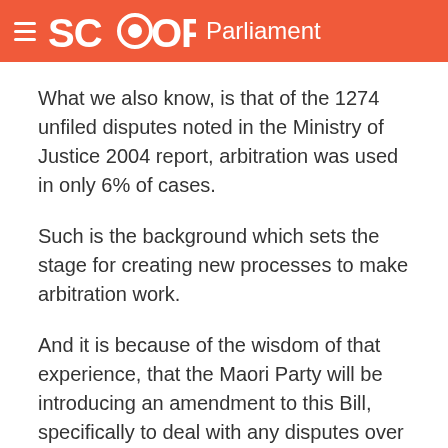SCOOP Parliament
What we also know, is that of the 1274 unfiled disputes noted in the Ministry of Justice 2004 report, arbitration was used in only 6% of cases.
Such is the background which sets the stage for creating new processes to make arbitration work.
And it is because of the wisdom of that experience, that the Maori Party will be introducing an amendment to this Bill, specifically to deal with any disputes over Maori land, which we believe should be dealt with in the Maori Land Court, not by arbitration.